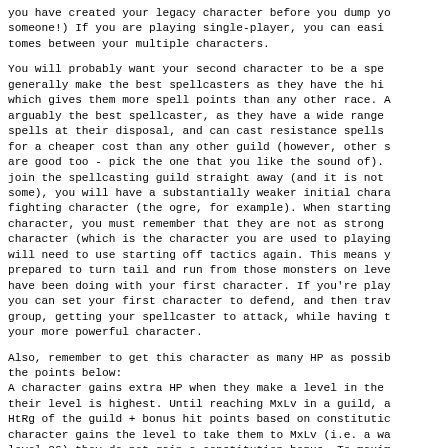you have created your legacy character before you dump y someone!) If you are playing single-player, you can eas tomes between your multiple characters.
You will probably want your second character to be a sp generally make the best spellcasters as they have the h which gives them more spell points than any other race. arguably the best spellcaster, as they have a wide rang spells at their disposal, and can cast resistance spell for a cheaper cost than any other guild (however, other are good too - pick the one that you like the sound of join the spellcasting guild straight away (and it is no some), you will have a substantially weaker initial cha fighting character (the ogre, for example). When starti character, you must remember that they are not as stron character (which is the character you are used to playi will need to use starting off tactics again. This means prepared to turn tail and run from those monsters on le have been doing with your first character. If you're p you can set your first character to defend, and then t group, getting your spellcaster to attack, while havin your more powerful character.
Also, remember to get this character as many HP as pos the points below: A character gains extra HP when they make a level in t their level is highest. Until reaching MxLv in a guild HtRg of the guild + bonus hit points based on constitut character gains the level to take them to MxLv (i.e. a level 26) they do not gain a constitution bonus. To maxi